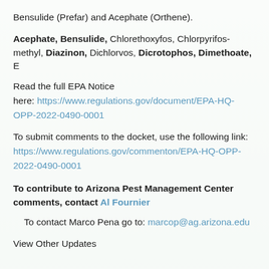Bensulide (Prefar) and Acephate (Orthene).
Acephate, Bensulide, Chlorethoxyfos, Chlorpyrifos-methyl, Diazinon, Dichlorvos, Dicrotophos, Dimethoate, E...
Read the full EPA Notice here: https://www.regulations.gov/document/EPA-HQ-OPP-2022-0490-0001
To submit comments to the docket, use the following link: https://www.regulations.gov/commenton/EPA-HQ-OPP-2022-0490-0001
To contribute to Arizona Pest Management Center comments, contact Al Fournier
To contact Marco Pena go to: marcop@ag.arizona.edu
View Other Updates